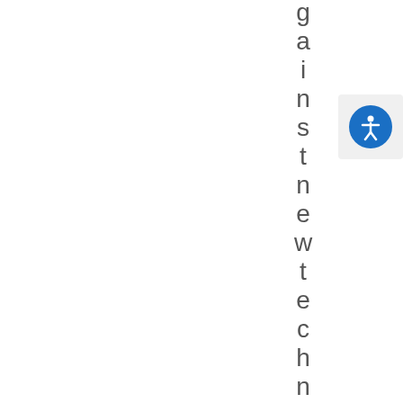against new technology
[Figure (illustration): Accessibility icon button — blue circle with white person/figure symbol, on a light gray square background, positioned in the upper right area]